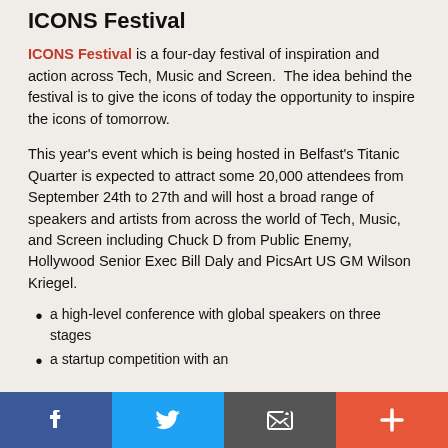ICONS Festival
ICONS Festival is a four-day festival of inspiration and action across Tech, Music and Screen.  The idea behind the festival is to give the icons of today the opportunity to inspire the icons of tomorrow.
This year's event which is being hosted in Belfast's Titanic Quarter is expected to attract some 20,000 attendees from September 24th to 27th and will host a broad range of speakers and artists from across the world of Tech, Music, and Screen including Chuck D from Public Enemy, Hollywood Senior Exec Bill Daly and PicsArt US GM Wilson Kriegel.
a high-level conference with global speakers on three stages
a startup competition with an
Social share bar: Facebook, Twitter, Email, Plus